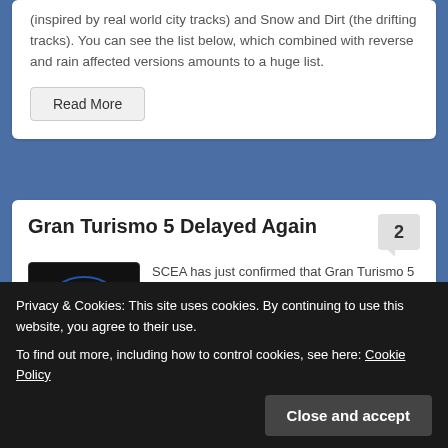(inspired by real world city tracks) and Snow and Dirt (the drifting tracks). You can see the list below, which combined with reverse and rain affected versions amounts to a huge list.
Read More
Gran Turismo 5 Delayed Again
SCEA has just confirmed that Gran Turismo 5 will not make the previously announced release date of November 2nd 2010. However, Sony
Privacy & Cookies: This site uses cookies. By continuing to use this website, you agree to their use.
To find out more, including how to control cookies, see here: Cookie Policy
Close and accept